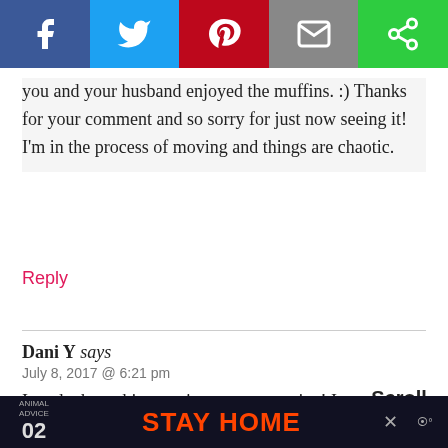[Figure (other): Social media share buttons bar: Facebook (blue), Twitter (light blue), Pinterest (red), Email (gray), and a green share button]
you and your husband enjoyed the muffins. :) Thanks for your comment and so sorry for just now seeing it! I'm in the process of moving and things are chaotic.
Reply
Dani Y says
July 8, 2017 @ 6:21 pm
I made these this morning — great recipe! I don't have a food scale, so did my best with the measurements provided and my muffins came out great. The separating of eggs,
[Figure (infographic): Advertisement banner: ANIMAL ADVICE 02 STAY HOME @rohandahotre with illustration of mushrooms and mountains]
Scroll to top